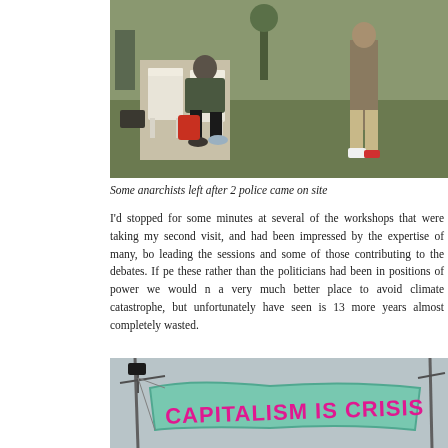[Figure (photo): Outdoor scene showing anarchists seated on white chairs on grass, with people standing nearby. Photography taken at an outdoor event or camp.]
Some anarchists left after 2 police came on site
I'd stopped for some minutes at several of the workshops that were taking my second visit, and had been impressed by the expertise of many, both leading the sessions and some of those contributing to the debates. If people like these rather than the politicians had been in positions of power we would now be in a very much better place to avoid climate catastrophe, but unfortunately what we have seen is 13 more years almost completely wasted.
[Figure (photo): Outdoor protest banner hung between poles reading 'CAPITALISM IS CRISIS' in large pink letters on a green/teal background, against a grey sky.]